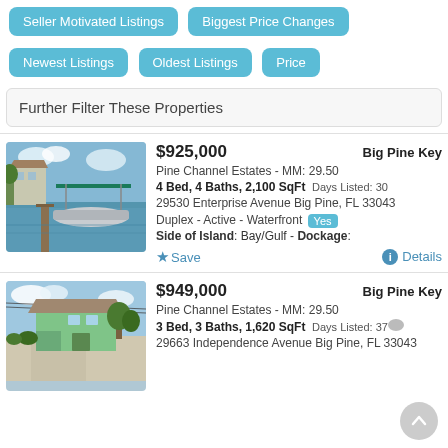Seller Motivated Listings
Biggest Price Changes
Newest Listings
Oldest Listings
Price
Further Filter These Properties
[Figure (photo): Waterfront property with boat dock and pontoon boat, Big Pine Key FL]
$925,000 | Big Pine Key
Pine Channel Estates - MM: 29.50
4 Bed, 4 Baths, 2,100 SqFt  Days Listed: 30
29530 Enterprise Avenue Big Pine, FL 33043
Duplex - Active - Waterfront Yes
Side of Island: Bay/Gulf - Dockage:
[Figure (photo): Single family home, light green exterior, Big Pine Key FL]
$949,000 | Big Pine Key
Pine Channel Estates - MM: 29.50
3 Bed, 3 Baths, 1,620 SqFt  Days Listed: 370
29663 Independence Avenue Big Pine, FL 33043